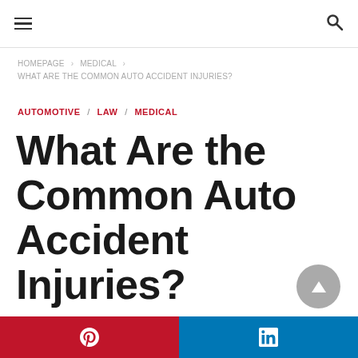Navigation header with hamburger menu and search icon
HOMEPAGE > MEDICAL > WHAT ARE THE COMMON AUTO ACCIDENT INJURIES?
AUTOMOTIVE / LAW / MEDICAL
What Are the Common Auto Accident Injuries?
[Figure (other): Scroll to top button - grey circle with upward triangle arrow]
[Figure (other): Social share bar with Pinterest (red) and LinkedIn (blue) buttons]